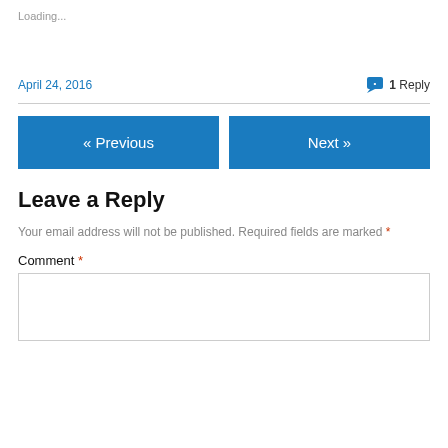Loading...
April 24, 2016
1 Reply
« Previous
Next »
Leave a Reply
Your email address will not be published. Required fields are marked *
Comment *